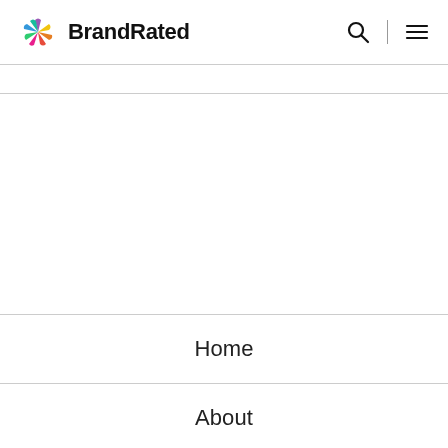[Figure (logo): BrandRated logo with colorful star icon and bold text 'BrandRated']
Home
About
Reviews